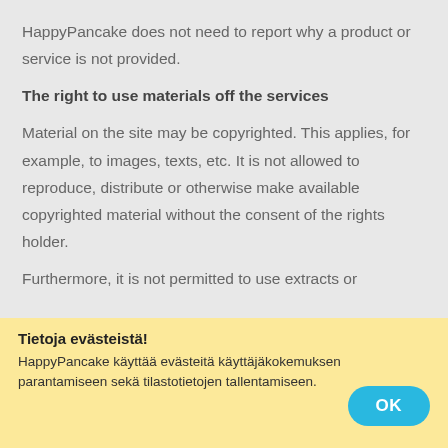HappyPancake does not need to report why a product or service is not provided.
The right to use materials off the services
Material on the site may be copyrighted. This applies, for example, to images, texts, etc. It is not allowed to reproduce, distribute or otherwise make available copyrighted material without the consent of the rights holder.
Furthermore, it is not permitted to use extracts or
Tietoja evästeistä!
HappyPancake käyttää evästeitä käyttäjäkokemuksen parantamiseen sekä tilastotietojen tallentamiseen.